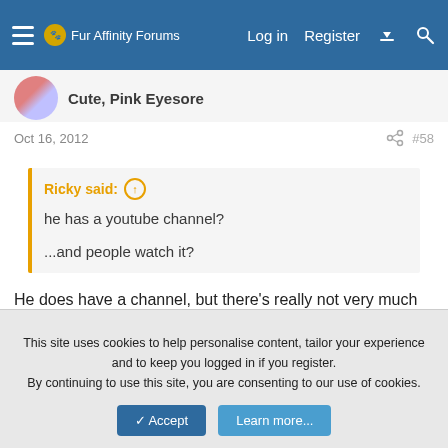Fur Affinity Forums — Log in  Register
Cute, Pink Eyesore
Oct 16, 2012   #58
Ricky said:
he has a youtube channel?

...and people watch it?
He does have a channel, but there's really not very much of interest on it, most of his videos are from other people, and that are a LOT of videos.
This site uses cookies to help personalise content, tailor your experience and to keep you logged in if you register.
By continuing to use this site, you are consenting to our use of cookies.